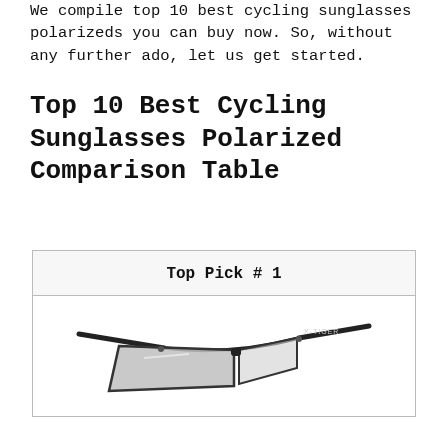We compile top 10 best cycling sunglasses polarizeds you can buy now. So, without any further ado, let us get started.
Top 10 Best Cycling Sunglasses Polarized Comparison Table
Top Pick # 1
[Figure (photo): A pair of black cycling sunglasses with silver/grey lens shown at an angle, with the X-Tiger brand visible on the arm.]